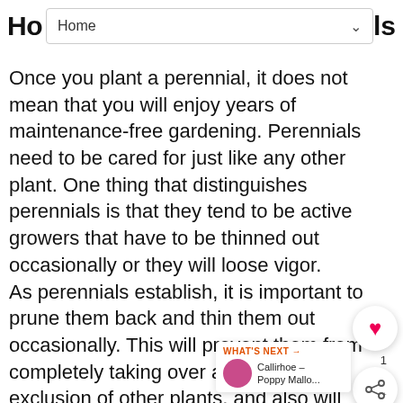Ho Home ls
Once you plant a perennial, it does not mean that you will enjoy years of maintenance-free gardening. Perennials need to be cared for just like any other plant. One thing that distinguishes perennials is that they tend to be active growers that have to be thinned out occasionally or they will loose vigor.
As perennials establish, it is important to prune them back and thin them out occasionally. This will prevent them from completely taking over an area to the exclusion of other plants, and also will increase air circulation thereby reducing the incidence of diseases like botrytis and powdery mildew.